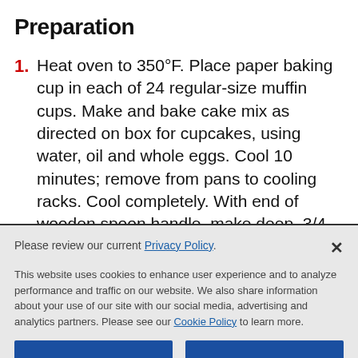Preparation
Heat oven to 350°F. Place paper baking cup in each of 24 regular-size muffin cups. Make and bake cake mix as directed on box for cupcakes, using water, oil and whole eggs. Cool 10 minutes; remove from pans to cooling racks. Cool completely. With end of wooden spoon handle, make deep, 3/4-inchwide indentation in center of top of each cupcake, not quite to bottom. Spoon lemon curd into resealable
Please review our current Privacy Policy.
This website uses cookies to enhance user experience and to analyze performance and traffic on our website. We also share information about your use of our site with our social media, advertising and analytics partners. Please see our Cookie Policy to learn more.